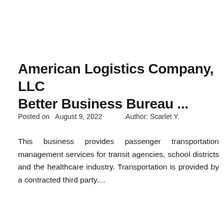American Logistics Company, LLC Better Business Bureau ...
Posted on  August 9, 2022     Author: Scarlet Y.
This business provides passenger transportation management services for transit agencies, school districts and the healthcare industry. Transportation is provided by a contracted third party....